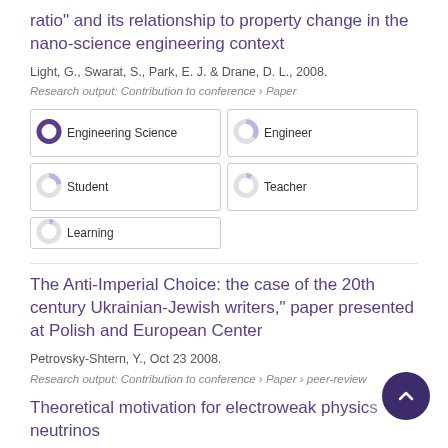ratio" and its relationship to property change in the nano-science engineering context
Light, G., Swarat, S., Park, E. J. & Drane, D. L., 2008.
Research output: Contribution to conference › Paper
[Figure (infographic): Five keyword badge pills arranged in a 2-column grid: Engineering Science (100%), Engineer (~35%), Student (~22%), Teacher (~8%), Learning (~6%)]
The Anti-Imperial Choice: the case of the 20th century Ukrainian-Jewish writers," paper presented at Polish and European Center
Petrovsky-Shtern, Y., Oct 23 2008.
Research output: Contribution to conference › Paper › peer-review
Theoretical motivation for electroweak physics neutrinos